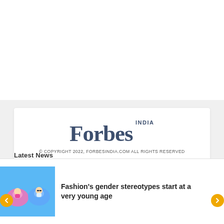[Figure (logo): Forbes India logo with 'INDIA' superscript above 'Forbes' in dark blue serif font]
© COPYRIGHT 2022, FORBESINDIA.COM ALL RIGHTS RESERVED
FOLLOW
[Figure (infographic): Social media icons in circles: Facebook, Twitter, Instagram, LinkedIn, Spotify, YouTube, Telegram]
Latest News
[Figure (photo): Photo of children floating in colorful swim rings in a pool]
Fashion's gender stereotypes start at a very young age